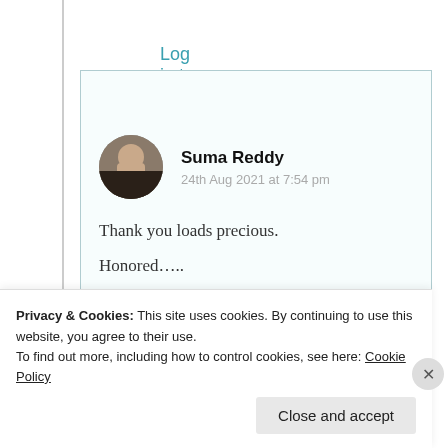Log in to Reply
Suma Reddy
24th Aug 2021 at 7:54 pm
Thank you loads precious.
Honored…..
Like
Privacy & Cookies: This site uses cookies. By continuing to use this website, you agree to their use.
To find out more, including how to control cookies, see here: Cookie Policy
Close and accept